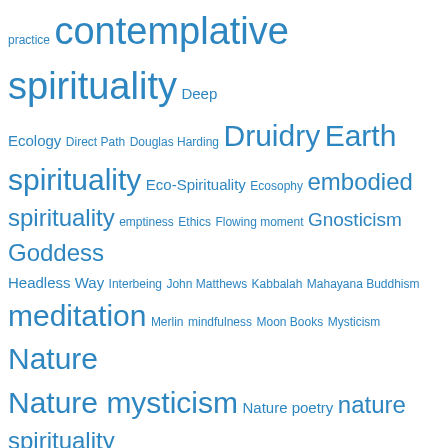[Figure (infographic): Tag cloud of spiritual and religious topics. Terms vary in font size indicating frequency/weight. All text is in blue. Terms include: practice, contemplative spirituality, Deep Ecology, Direct Path, Douglas Harding, Druidry, Earth spirituality, Eco-Spirituality, Ecosophy, embodied spirituality, emptiness, Ethics, Flowing moment, Gnosticism, Goddess, Headless Way, Interbeing, John Matthews, Kabbalah, Mahayana Buddhism, meditation, Merlin, mindfulness, Moon Books, Mysticism, Nature, Nature mysticism, Nature poetry, nature spirituality, non-dualism, non-duality, OBOD, Paganism, Philip Carr-Gomm, Poetry, Presence, Present moment, R.J. Stewart, Seasonal Festivals, Seasons, shamanism, Sophia, Sophian Way, Spiritual inquiry, Spirituality, Spiritual practice, stillness, Taoism, Thich Nhat Hanh, Trees, Way of Sophia, Welsh Paganism, Wheel of the Year, Winter, Wisdom, Zen Buddhism]